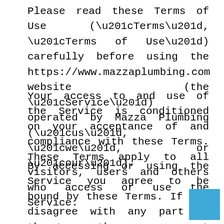Please read these Terms of Use (“Terms”, “Terms of Use”) carefully before using the https://www.mazzaplumbing.com website (the “Service”) operated by Mazza Plumbing (“us”, “we”, or “our”).
Your access to and use of the Service is conditioned on your acceptance of and compliance with these Terms. These Terms apply to all visitors, users and others who access or use the Service.
By accessing or using the Service you agree to be bound by these Terms. If you disagree with any part of the terms then you may not access the Service.